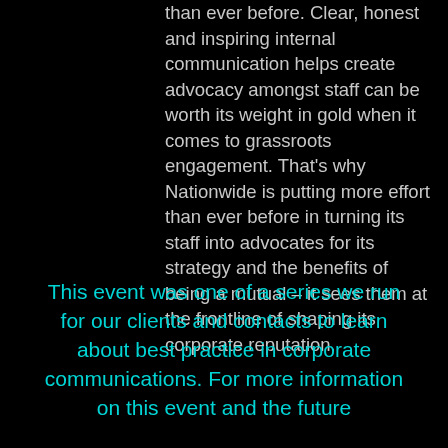than ever before. Clear, honest and inspiring internal communication helps create advocacy amongst staff can be worth its weight in gold when it comes to grassroots engagement. That's why Nationwide is putting more effort than ever before in turning its staff into advocates for its strategy and the benefits of being a mutual – it sees them at the frontline of shaping its corporate reputation.
This event was one of a series we run for our clients and contacts to learn about best practice in corporate communications. For more information on this event and the future